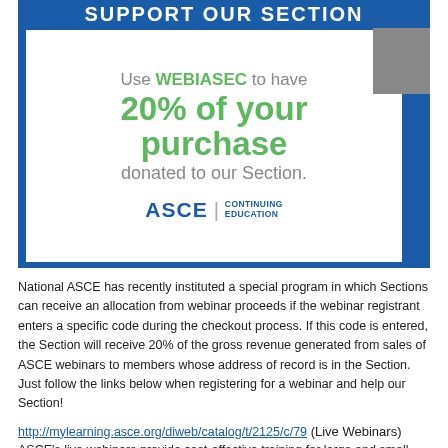[Figure (infographic): Blue banner with 'SUPPORT OUR SECTION' header, white inner box with text 'Use WEBIASEC to have 20% of your purchase donated to our Section.' and ASCE Continuing Education logo.]
National ASCE has recently instituted a special program in which Sections can receive an allocation from webinar proceeds if the webinar registrant enters a specific code during the checkout process. If this code is entered, the Section will receive 20% of the gross revenue generated from sales of ASCE webinars to members whose address of record is in the Section. Just follow the links below when registering for a webinar and help our Section!
http://mylearning.asce.org/diweb/catalog/t/2125/c/79 (Live Webinars)
ASCE's live webinars provide cost-effective training for large and small groups. Use Promo Code WEBIASEC to secure your preferred rate.
http://mylearning.asce.org/diweb/catalog/t/2135/c/79 (On-Demand Webinars)